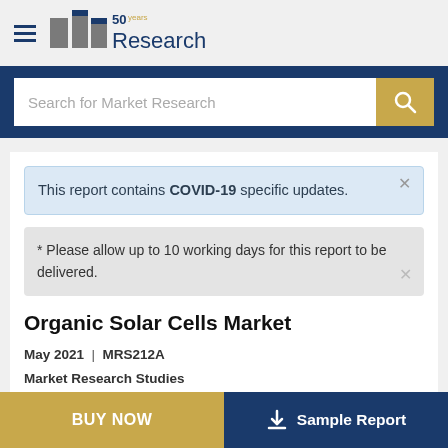BCC Research
Search for Market Research
This report contains COVID-19 specific updates.
* Please allow up to 10 working days for this report to be delivered.
Organic Solar Cells Market
May 2021  |  MRS212A
Market Research Studies
BUY NOW
Sample Report